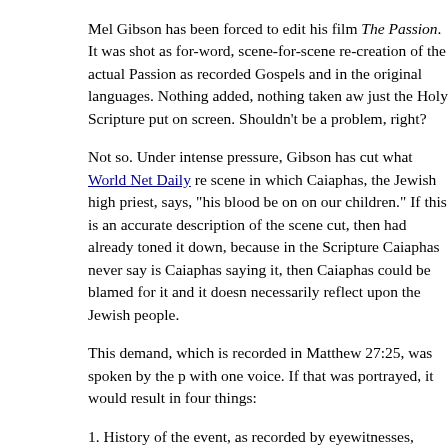Mel Gibson has been forced to edit his film The Passion. It was shot as a word-for-word, scene-for-scene re-creation of the actual Passion as recorded in the Gospels and in the original languages. Nothing added, nothing taken away, just the Holy Scripture put on screen. Shouldn't be a problem, right?
Not so. Under intense pressure, Gibson has cut what World Net Daily reports as a scene in which Caiaphas, the Jewish high priest, says, "his blood be on us and on our children." If this is an accurate description of the scene cut, then Gibson had already toned it down, because in the Scripture Caiaphas never says it. If it is Caiaphas saying it, then Caiaphas could be blamed for it and it doesn't necessarily reflect upon the Jewish people.
This demand, which is recorded in Matthew 27:25, was spoken by the people with one voice. If that was portrayed, it would result in four things:
1. History of the event, as recorded by eyewitnesses, would be accurately portrayed.
2. The Holy Apostle Peter would also be telling the truth in Acts 2:22-24: Men of Israel, hear these words: Jesus of Nazareth, a Man attested by God to you by miracles, wonders, and signs which God did through Him in your midst, as you yourselves also know. Him, being delivered by the determined counsel and foreknowledge of God, you have taken by lawless hands, have crucified, and put to death; whom God raised up, having loosed the pains of death, be